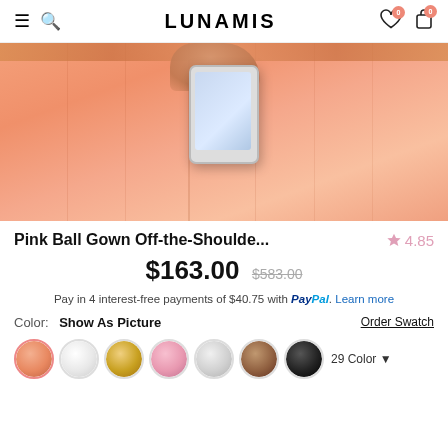LUNAMIS
[Figure (photo): Close-up photo of a pink/peach ball gown skirt, with a person's hand holding a smartphone in the center of the image.]
Pink Ball Gown Off-the-Shoulde...  ★ 4.85
$163.00  $583.00
Pay in 4 interest-free payments of $40.75 with PayPal. Learn more
Color:  Show As Picture  Order Swatch
[Figure (other): Color swatches row: peach/photo swatch (selected), white, gold, pink, light gray, brown, black, followed by '29 Color' dropdown indicator.]